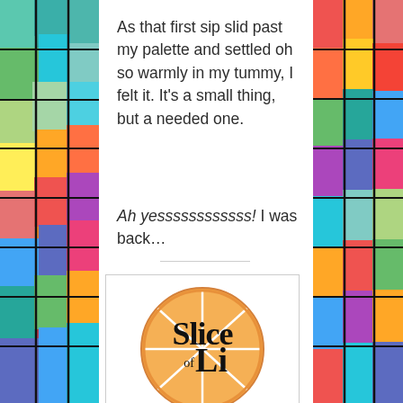[Figure (illustration): Left decorative stained-glass style colorful mosaic strip]
[Figure (illustration): Right decorative stained-glass style colorful mosaic strip]
As that first sip slid past my palette and settled oh so warmly in my tummy, I felt it. It’s a small thing, but a needed one.
Ah yessssssssssss! I was back…
[Figure (logo): Slice of Life logo: orange citrus slice illustration with text 'Slice of Life' overlaid in black serif font]